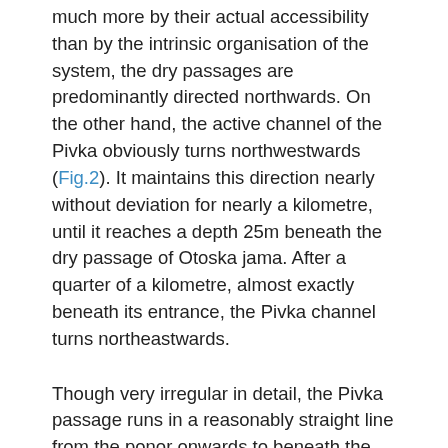much more by their actual accessibility than by the intrinsic organisation of the system, the dry passages are predominantly directed northwards. On the other hand, the active channel of the Pivka obviously turns northwestwards (Fig.2). It maintains this direction nearly without deviation for nearly a kilometre, until it reaches a depth 25m beneath the dry passage of Otoska jama. After a quarter of a kilometre, almost exactly beneath its entrance, the Pivka channel turns northeastwards.
Though very irregular in detail, the Pivka passage runs in a reasonably straight line from the ponor onwards to beneath the Otoska jama entrance. Compared to the predominantly large passages of the upper, dry, level, the active conduits, especially those closer to the bend, are narrower and lower. Incised phreatic loops can be seen at many locations, providing evidence that the channel is a